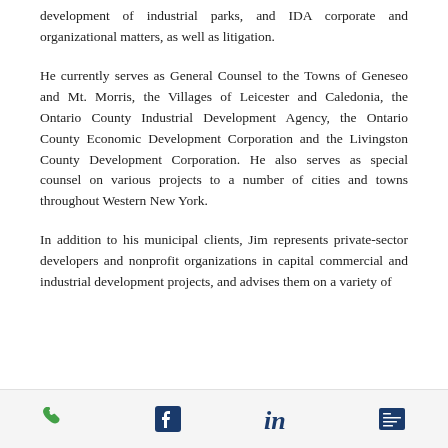development of industrial parks, and IDA corporate and organizational matters, as well as litigation.
He currently serves as General Counsel to the Towns of Geneseo and Mt. Morris, the Villages of Leicester and Caledonia, the Ontario County Industrial Development Agency, the Ontario County Economic Development Corporation and the Livingston County Development Corporation. He also serves as special counsel on various projects to a number of cities and towns throughout Western New York.
In addition to his municipal clients, Jim represents private-sector developers and nonprofit organizations in capital commercial and industrial development projects, and advises them on a variety of
[Figure (infographic): Footer bar with four icons: phone (green), Facebook (dark blue), LinkedIn (dark blue), and vCard/contact (dark blue)]